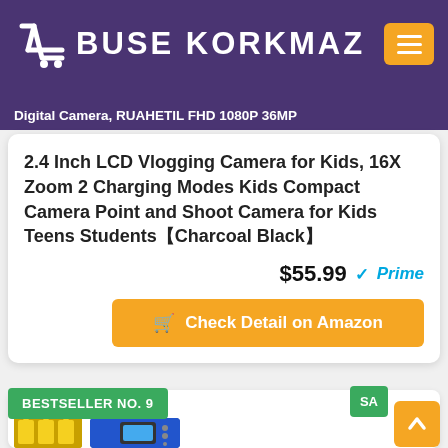[Figure (logo): Buse Korkmaz website header with logo and hamburger menu]
Digital Camera, RUAHETIL FHD 1080P 36MP
2.4 Inch LCD Vlogging Camera for Kids, 16X Zoom 2 Charging Modes Kids Compact Camera Point and Shoot Camera for Kids Teens Students【Charcoal Black】
$55.99 Prime
Check Detail on Amazon
BESTSELLER NO. 9
SA
[Figure (photo): Blue rugged kids waterproof digital camera with gift accessories]